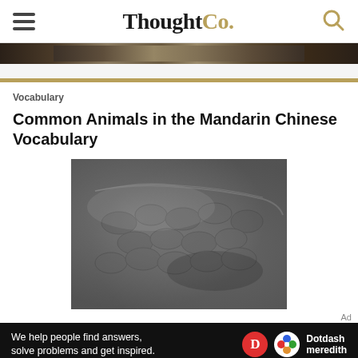ThoughtCo.
Vocabulary
Common Animals in the Mandarin Chinese Vocabulary
[Figure (photo): Close-up photo of a crocodile or alligator, showing detailed scaly texture of its skin in dark grey/black tones]
Ad
[Figure (infographic): Dotdash Meredith advertisement banner on black background reading: We help people find answers, solve problems and get inspired. With Dotdash Meredith logo.]